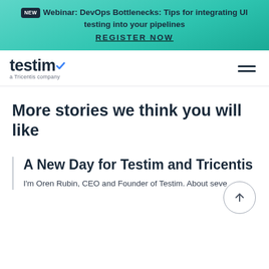NEW Webinar: DevOps Bottlenecks: Tips for integrating UI testing into your pipelines REGISTER NOW
[Figure (logo): Testim logo with 'a Tricentis company' subtitle and hamburger menu icon]
More stories we think you will like
A New Day for Testim and Tricentis
I'm Oren Rubin, CEO and Founder of Testim. About seve